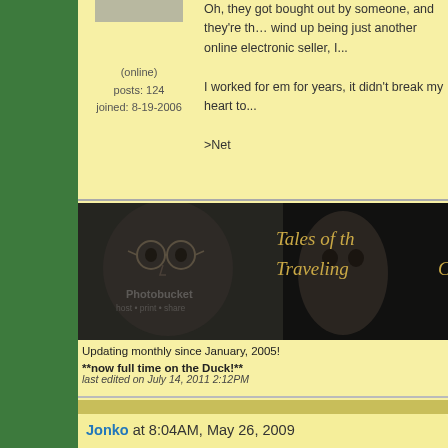Oh, they got bought out by someone, and they're thinking they might wind up being just another online electronic seller, I...
I worked for em for years, it didn't break my heart to...
>Net
(online)
posts: 124
joined: 8-19-2006
[Figure (illustration): Comic banner showing Tales of the Traveling C... with a face illustration and watermarked photobucket image]
Updating monthly since January, 2005!
**now full time on the Duck!**
last edited on July 14, 2011 2:12PM
Jonko at 8:04AM, May 26, 2009
[Figure (illustration): Anime-style avatar of a girl with purple hair holding a large mallet, with 100 on it]
Careful, if you go into a store you might get your bra...
(online)
posts: 377
joined: 2-9-2007